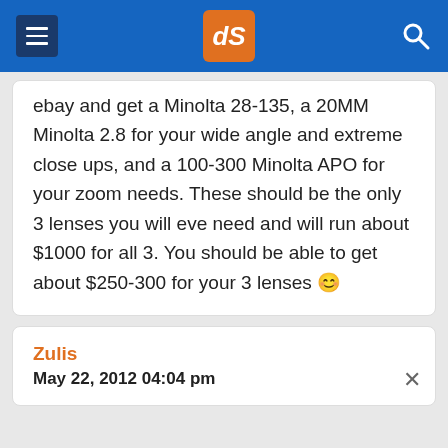dPS navigation and search header
ebay and get a Minolta 28-135, a 20MM Minolta 2.8 for your wide angle and extreme close ups, and a 100-300 Minolta APO for your zoom needs. These should be the only 3 lenses you will eve need and will run about $1000 for all 3. You should be able to get about $250-300 for your 3 lenses 😊
Zulis
May 22, 2012 04:04 pm